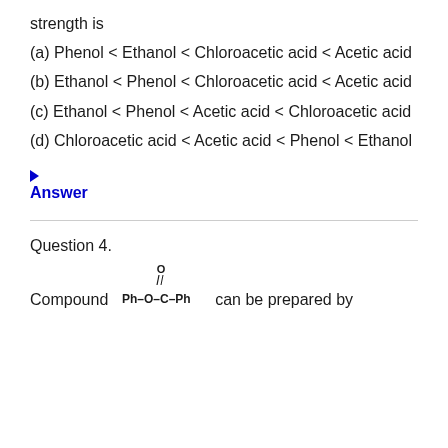strength is
(a) Phenol < Ethanol < Chloroacetic acid < Acetic acid
(b) Ethanol < Phenol < Chloroacetic acid < Acetic acid
(c) Ethanol < Phenol < Acetic acid < Chloroacetic acid
(d) Chloroacetic acid < Acetic acid < Phenol < Ethanol
▶ Answer
Question 4.
Compound Ph–O–C(=O)–Ph can be prepared by